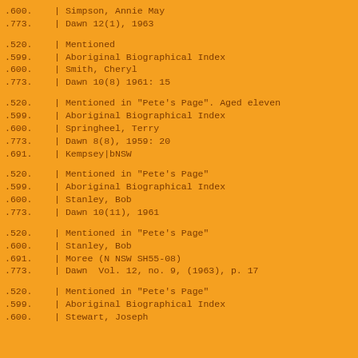.600.    | Simpson, Annie May
.773.    | Dawn 12(1), 1963
.520.    | Mentioned
.599.    | Aboriginal Biographical Index
.600.    | Smith, Cheryl
.773.    | Dawn 10(8) 1961: 15
.520.    | Mentioned in "Pete's Page". Aged eleven
.599.    | Aboriginal Biographical Index
.600.    | Springheel, Terry
.773.    | Dawn 8(8), 1959: 20
.691.    | Kempsey|bNSW
.520.    | Mentioned in "Pete's Page"
.599.    | Aboriginal Biographical Index
.600.    | Stanley, Bob
.773.    | Dawn 10(11), 1961
.520.    | Mentioned in "Pete's Page"
.600.    | Stanley, Bob
.691.    | Moree (N NSW SH55-08)
.773.    | Dawn  Vol. 12, no. 9, (1963), p. 17
.520.    | Mentioned in "Pete's Page"
.599.    | Aboriginal Biographical Index
.600.    | Stewart, Joseph